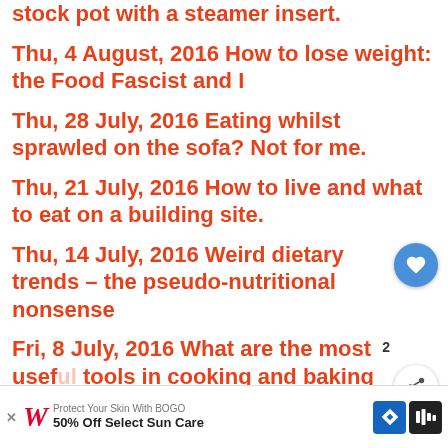stock pot with a steamer insert.
Thu, 4 August, 2016 How to lose weight: the Food Fascist and I
Thu, 28 July, 2016 Eating whilst sprawled on the sofa? Not for me.
Thu, 21 July, 2016 How to live and what to eat on a building site.
Thu, 14 July, 2016 Weird dietary trends – the pseudo-nutritional nonsense
Fri, 8 July, 2016 What are the most useful tools in cooking and baking life?
Thu, 30 June, 2016 The aftermath of the referendum – time to cook some…
Thu, 23 June, 2016 'Easy recipe' – it's an
[Figure (screenshot): Walgreens advertisement banner: 'Protect Your Skin With BOGO 50% Off Select Sun Care' with blue arrow icon and dark sound icon]